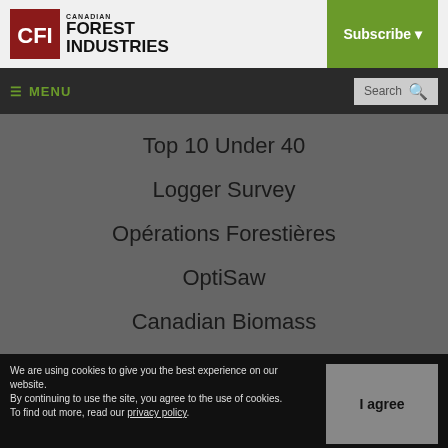Canadian Forest Industries — Subscribe
MENU | Search
Top 10 Under 40
Logger Survey
Opérations Forestières
OptiSaw
Canadian Biomass
We are using cookies to give you the best experience on our website.
By continuing to use the site, you agree to the use of cookies.
To find out more, read our privacy policy.